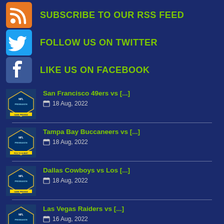SUBSCRIBE TO OUR RSS FEED
FOLLOW US ON TWITTER
LIKE US ON FACEBOOK
San Francisco 49ers vs [...] — 18 Aug, 2022
Tampa Bay Buccaneers vs [...] — 18 Aug, 2022
Dallas Cowboys vs Los [...] — 18 Aug, 2022
Las Vegas Raiders vs [...] — 16 Aug, 2022
Pittsburgh Steelers vs Jacksonville [...] — 16 Aug, 2022